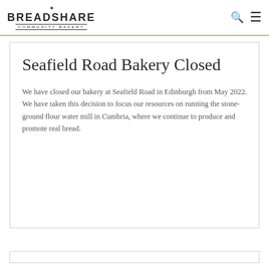BREADSHARE COMMUNITY BAKERY
Seafield Road Bakery Closed
We have closed our bakery at Seafield Road in Edinburgh from May 2022. We have taken this decision to focus our resources on running the stone-ground flour water mill in Cumbria, where we continue to produce and promote real bread.